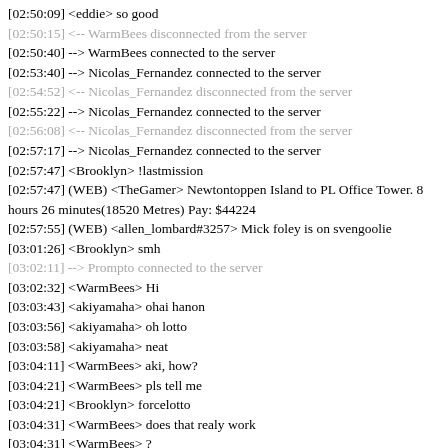[02:50:09] <eddie> so good
[02:50:15] <-- WarmBees disconnected from the server
[02:50:40] --> WarmBees connected to the server
[02:53:40] --> Nicolas_Fernandez connected to the server
[02:54:52] <-- Nicolas_Fernandez disconnected from the server
[02:55:22] --> Nicolas_Fernandez connected to the server
[02:56:08] <-- Nicolas_Fernandez disconnected from the server
[02:57:17] --> Nicolas_Fernandez connected to the server
[02:57:47] <Brooklyn> !lastmission
[02:57:47] (WEB) <TheGamer> Newtontoppen Island to PL Office Tower. 8 hours 26 minutes(18520 Metres) Pay: $44224
[02:57:55] (WEB) <allen_lombard#3257> Mick foley is on svengoolie
[03:01:26] <Brooklyn> smh
[03:02:11] --> Prompto connected to the server
[03:02:32] <WarmBees> Hi
[03:03:43] <akiyamaha> ohai hanon
[03:03:56] <akiyamaha> oh lotto
[03:03:58] <akiyamaha> neat
[03:04:11] <WarmBees> aki, how?
[03:04:21] <WarmBees> pls tell me
[03:04:21] <Brooklyn> forcelotto
[03:04:31] <WarmBees> does that realy work
[03:04:31] <WarmBees> ?
[03:04:39] <Brooklyn> nah